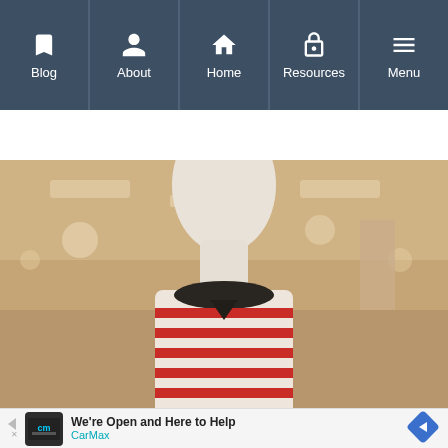Blog | About | Home | Resources | Menu
[Figure (photo): A headless white mannequin wearing a striped top with a black collar, photographed in a retail store with blurred background showing ceiling lights and store interior]
[Figure (screenshot): Advertisement banner: CarMax logo with text 'We're Open and Here to Help' and 'CarMax' with a blue diamond arrow icon]